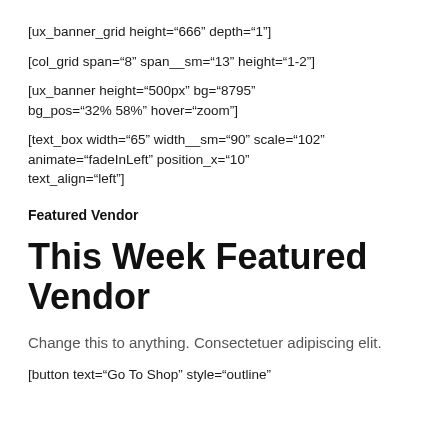[ux_banner_grid height="666" depth="1"]
[col_grid span="8" span__sm="13" height="1-2"]
[ux_banner height="500px" bg="8795" bg_pos="32% 58%" hover="zoom"]
[text_box width="65" width__sm="90" scale="102" animate="fadeInLeft" position_x="10" text_align="left"]
Featured Vendor
This Week Featured Vendor
Change this to anything. Consectetuer adipiscing elit.
[button text="Go To Shop" style="outline"